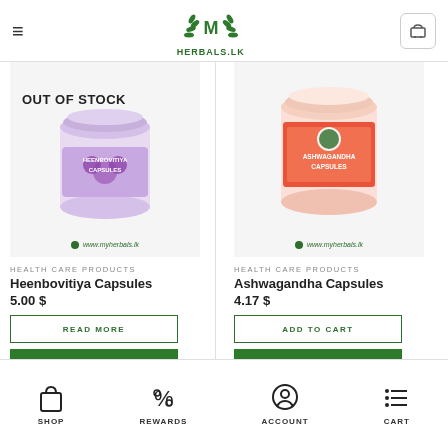[Figure (logo): Herbals.LK logo with green laurel wreath and text HERBALS.LK]
[Figure (photo): Heenbovitiya Capsules product jar with purple flower, OUT OF STOCK overlay, www.myherbals.lk watermark]
HEALTH CARE PRODUCTS
Heenbovitiya Capsules
5.00 $
READ MORE
VIEW PRODUCT
[Figure (photo): Ashwagandha Capsules product jar with orange/red label, www.myherbals.lk watermark]
HEALTH CARE PRODUCTS
Ashwagandha Capsules
4.17 $
ADD TO CART
VIEW PRODUCT
SHOP
REWARDS
ACCOUNT
CART